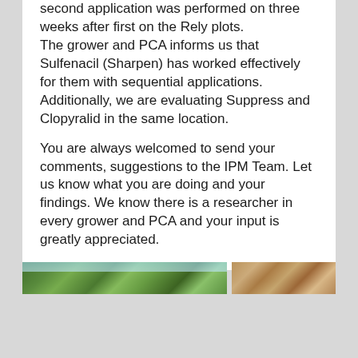second application was performed on three weeks after first on the Rely plots. The grower and PCA informs us that Sulfenacil (Sharpen) has worked effectively for them with sequential applications. Additionally, we are evaluating Suppress and Clopyralid in the same location.
You are always welcomed to send your comments, suggestions to the IPM Team. Let us know what you are doing and your findings. We know there is a researcher in every grower and PCA and your input is greatly appreciated.
[Figure (photo): Two side-by-side photographs: left photo shows a green field/orchard with trees and blue sky; right photo shows a sandy or dry field area.]